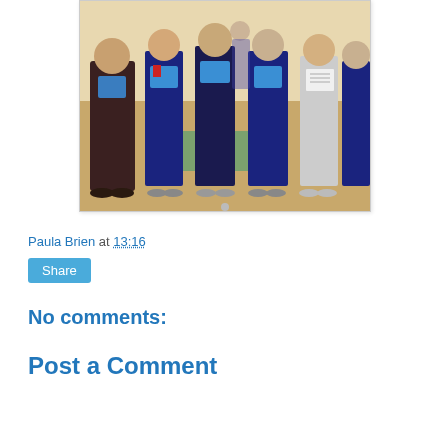[Figure (photo): Group of gymnasts and coaches standing in a gymnasium holding blue certificates and awards. Wooden floor visible in background with green gym mat.]
Paula Brien at 13:16
Share
No comments:
Post a Comment